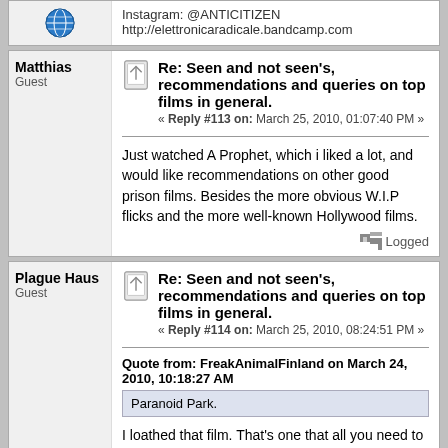Instagram: @ANTICITIZEN
http://elettronicaradicale.bandcamp.com
Re: Seen and not seen's, recommendations and queries on top films in general.
« Reply #113 on: March 25, 2010, 01:07:40 PM »
Just watched A Prophet, which i liked a lot, and would like recommendations on other good prison films. Besides the more obvious W.I.P flicks and the more well-known Hollywood films.
Logged
Re: Seen and not seen's, recommendations and queries on top films in general.
« Reply #114 on: March 25, 2010, 08:24:51 PM »
Quote from: FreakAnimalFinland on March 24, 2010, 10:18:27 AM
Paranoid Park.
I loathed that film. That's one that all you need to see is the trailers.
Logged
P-K
Re: Seen and not seen's, recommendations